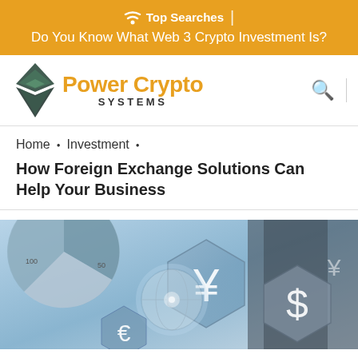Top Searches | Do You Know What Web 3 Crypto Investment Is?
[Figure (logo): Power Crypto Systems logo with Ethereum diamond icon in dark green/grey and orange text]
Home • Investment •
How Foreign Exchange Solutions Can Help Your Business
[Figure (photo): A business person in a suit holding a glowing globe surrounded by currency symbols including Yen, Dollar, and Euro signs with financial chart overlays in blue tones]